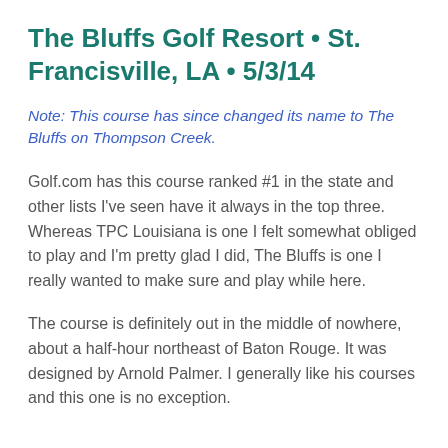The Bluffs Golf Resort • St. Francisville, LA • 5/3/14
Note: This course has since changed its name to The Bluffs on Thompson Creek.
Golf.com has this course ranked #1 in the state and other lists I've seen have it always in the top three. Whereas TPC Louisiana is one I felt somewhat obliged to play and I'm pretty glad I did, The Bluffs is one I really wanted to make sure and play while here.
The course is definitely out in the middle of nowhere, about a half-hour northeast of Baton Rouge. It was designed by Arnold Palmer. I generally like his courses and this one is no exception.